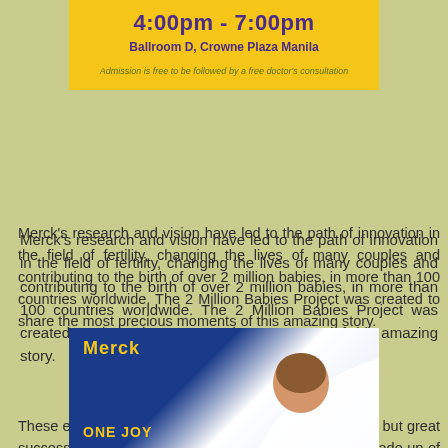[Figure (infographic): Yellow banner showing event time 4:00pm - 7:00pm, venue Ballroom D, Crowne Plaza Manila, and admission note about free doctor's consultation]
Merck's research and vision have led to the path of innovation in the field of fertility, changing the lives of many couples and contributing to the birth of over 2 million babies, in more than 100 countries worldwide. The 2 Million Babies Project was created to share the most precious moments of this amazing story.
These extraordinary stories are made up of many small, but great successes by giving life to dreams. These stories are made up of babies and the couple's happiness, which is the most significant milestone in their lives.
[Figure (photo): Merck branded image with yellow Merck logo on blue background, showing a person (baby) and text ONE JOY at the bottom]